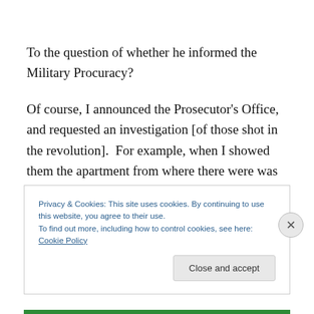To the question of whether he informed the Military Procuracy?
Of course, I announced the Prosecutor's Office, and requested an investigation [of those shot in the revolution].  For example, when I showed them the apartment from where there were was shooting during the revolution, on the fourth floor of the 'Luceafarul' cinema, the prosecutors told me that they sought to verify it and
Privacy & Cookies: This site uses cookies. By continuing to use this website, you agree to their use.
To find out more, including how to control cookies, see here: Cookie Policy